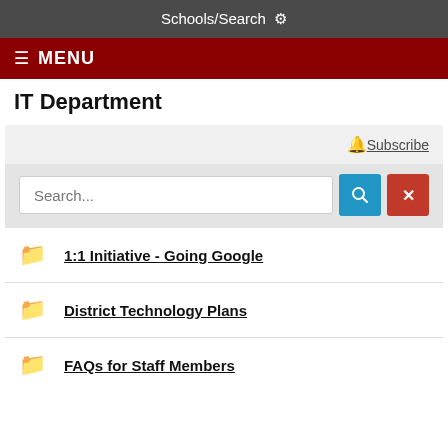Schools/Search ⚙
≡ MENU
IT Department
Subscribe
Search...
1:1 Initiative - Going Google
District Technology Plans
FAQs for Staff Members